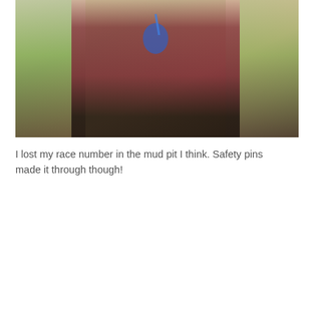[Figure (photo): A woman sitting outdoors on grass, smiling, wearing a maroon tank top and holding up a blue race medal. She appears to have finished a muddy race. Other people and equipment are visible in the background on a sunny day.]
I lost my race number in the mud pit I think. Safety pins made it through though!